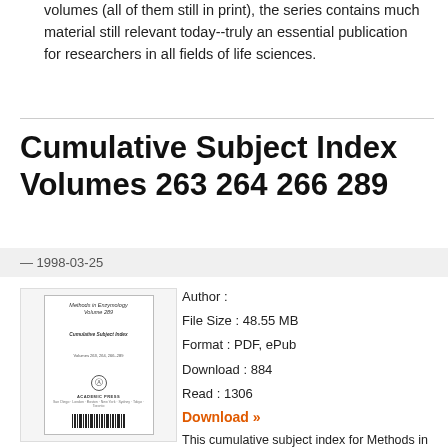volumes (all of them still in print), the series contains much material still relevant today--truly an essential publication for researchers in all fields of life sciences.
Cumulative Subject Index Volumes 263 264 266 289
— 1998-03-25
[Figure (photo): Book cover of Methods in Enzymology, Cumulative Subject Index, Volumes 263, 264, 266-289, published by Academic Press]
Author :
File Size : 48.55 MB
Format : PDF, ePub
Download : 884
Read : 1306
Download »
This cumulative subject index for Methods in Enzymology covers